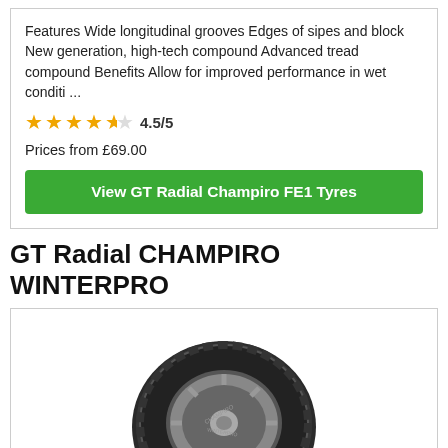Features Wide longitudinal grooves Edges of sipes and block New generation, high-tech compound Advanced tread compound Benefits Allow for improved performance in wet conditi ...
4.5/5
Prices from £69.00
View GT Radial Champiro FE1 Tyres
GT Radial CHAMPIRO WINTERPRO
[Figure (photo): Photo of GT Radial Champiro Winterpro tyre showing tread pattern, winter tyre design with siping, viewed from a slight angle]